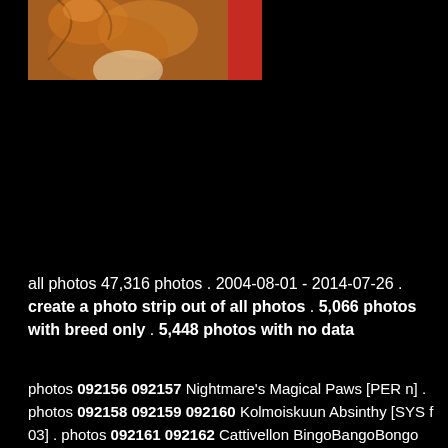[Figure (photo): Partial photo of a cat (orange/ginger fur) visible at top of page against black background, with a red element visible at right edge]
all photos 47,316 photos . 2004-08-01 - 2014-07-26 . create a photo strip out of all photos . 5,066 photos with breed only . 5,448 photos with no data
photos 092156 092157 Nightmare's Magical Paws [PER n] . photos 092158 092159 092160 Kolmoiskuun Absinthy [SYS f 03] . photos 092161 092162 Cattivellon BingoBangoBongo (Bongo) [MCO d 09 23] . photos 092163 092164